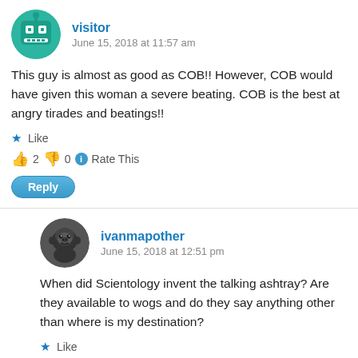visitor
June 15, 2018 at 11:57 am
This guy is almost as good as COB!! However, COB would have given this woman a severe beating. COB is the best at angry tirades and beatings!!
★ Like
👍 2 👎 0 ℹ Rate This
Reply
ivanmapother
June 15, 2018 at 12:51 pm
When did Scientology invent the talking ashtray? Are they available to wogs and do they say anything other than where is my destination?
★ Like
👍 1 👎 0 ℹ Rate This
Reply